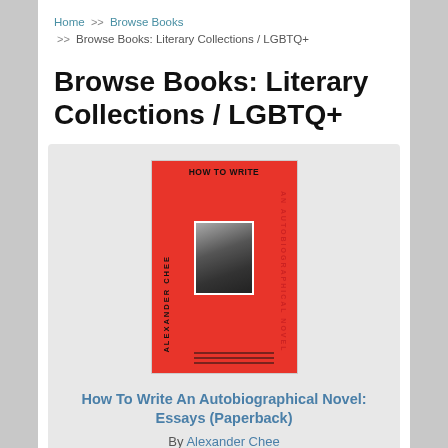Home >> Browse Books >> Browse Books: Literary Collections / LGBTQ+
Browse Books: Literary Collections / LGBTQ+
[Figure (illustration): Red book cover of 'How To Write An Autobiographical Novel' by Alexander Chee, featuring a small black-and-white portrait photo centered on the cover]
How To Write An Autobiographical Novel: Essays (Paperback)
By Alexander Chee
$15.99
Add to Cart   Add to Wish List
Usually Ships in 1-5 Days